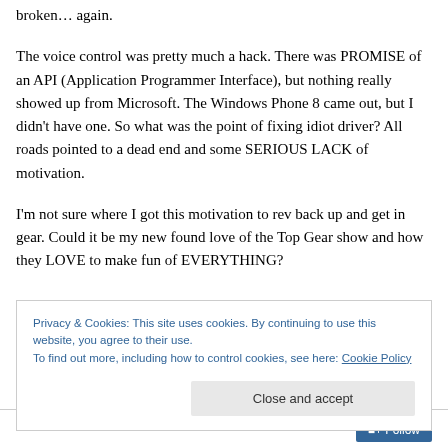broken... again.
The voice control was pretty much a hack. There was PROMISE of an API (Application Programmer Interface), but nothing really showed up from Microsoft. The Windows Phone 8 came out, but I didn't have one. So what was the point of fixing idiot driver? All roads pointed to a dead end and some SERIOUS LACK of motivation.
I'm not sure where I got this motivation to rev back up and get in gear. Could it be my new found love of the Top Gear show and how they LOVE to make fun of EVERYTHING?
Privacy & Cookies: This site uses cookies. By continuing to use this website, you agree to their use.
To find out more, including how to control cookies, see here: Cookie Policy
Close and accept